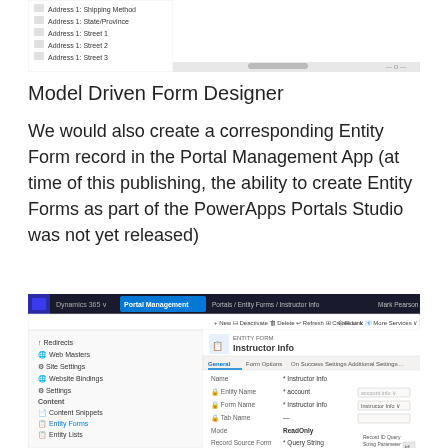[Figure (screenshot): Screenshot of a Model Driven Form Designer interface showing a list of form fields including Address fields on the left panel and a form canvas area on the right with a scrollbar at the bottom.]
Model Driven Form Designer
We would also create a corresponding Entity Form record in the Portal Management App (at time of this publishing, the ability to create Entity Forms as part of the PowerApps Portals Studio was not yet released)
[Figure (screenshot): Screenshot of Dynamics 365 Portal Management app showing an Entity Form record for 'Instructor Info'. The interface shows tabs: General, Form Options, On Success Settings, Additional Settings, Entity Reference, Entity Form Metadata, Related. Fields visible include Name (Instructor Info), Entity Name (account), Form Name (Instructor Info), Tab Name, Mode (ReadOnly), Record Source Form, and other settings.]